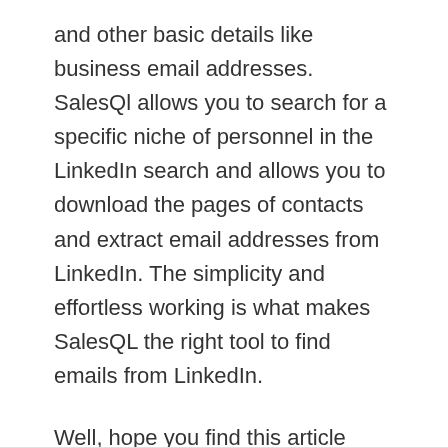and other basic details like business email addresses. SalesQl allows you to search for a specific niche of personnel in the LinkedIn search and allows you to download the pages of contacts and extract email addresses from LinkedIn. The simplicity and effortless working is what makes SalesQL the right tool to find emails from LinkedIn.
Well, hope you find this article helpful in finding your prospect's emails from Linkedin effortlessly.